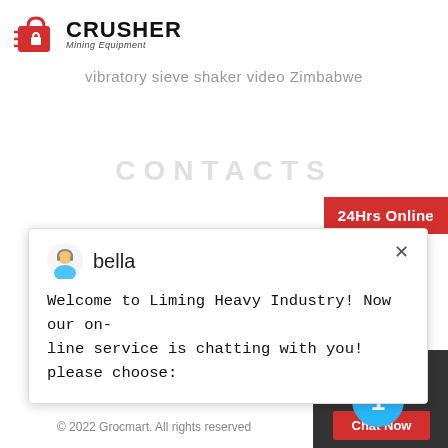[Figure (logo): Crusher Mining Equipment logo with red bag icon and bold text]
vibratory sieve shaker video Zimbabwe
CONTACTS
24Hrs Online
bella
Welcome to Liming Heavy Industry! Now our on-line service is chatting with you! please choose:
Need & suggestions
1
Chat Now
Enquiry
mumumugoods@gmail.com
© 2022 Grocmart. All rights reserved